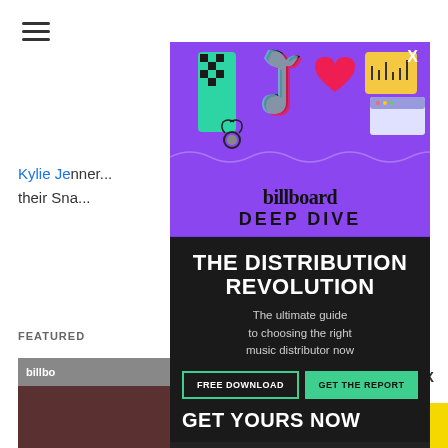[Figure (screenshot): Billboard Deep Dive modal advertisement overlay on a website. Purple top section with social media app icons (TikTok, Snapchat, heart, etc.) and 'billboard DEEP DIVE' branding. Dark bottom section with 'THE DISTRIBUTION REVOLUTION' headline, subtitle 'The ultimate guide to choosing the right music distributor now', and call-to-action buttons 'FREE DOWNLOAD' and 'GET THE REPORT', plus 'GET YOURS NOW' at the bottom.]
Kylie Je... over their Sna...
FEATURED
billboard
THE DISTRIBUTION REVOLUTION
The ultimate guide to choosing the right music distributor now
FREE DOWNLOAD
GET THE REPORT
GET YOURS NOW